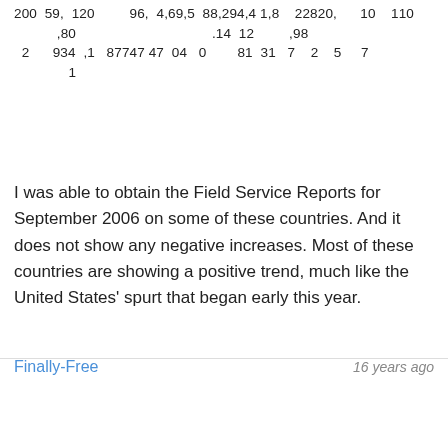200 59, 120 ,80 96, 4,69,5 88,294,4 1,8 22820, 10 110
2 934 ,1 87747 04 0 81 31 ,14 12 ,98
                                    7 2 5 7
I was able to obtain the Field Service Reports for September 2006 on some of these countries. And it does not show any negative increases. Most of these countries are showing a positive trend, much like the United States' spurt that began early this year.
Link
Finally-Free
16 years ago
That is merely evidence that JWs, unlike normal people, are too stupid to use birth control. Everyone with a brain knows that most of their "growth" comes from within their own families, and many of them leave the cult upon reaching adulthood.